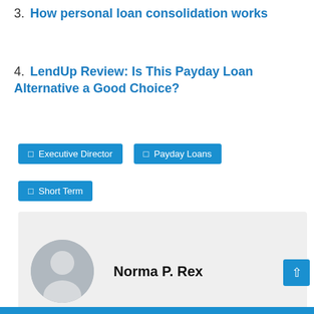3. How personal loan consolidation works
4. LendUp Review: Is This Payday Loan Alternative a Good Choice?
☐ Executive Director
☐ Payday Loans
☐ Short Term
Norma P. Rex